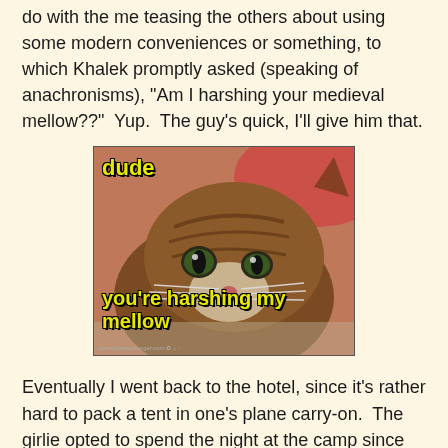do with the me teasing the others about using some modern conveniences or something, to which Khalek promptly asked (speaking of anachronisms), "Am I harshing your medieval mellow??"  Yup.  The guy's quick, I'll give him that.
[Figure (photo): A meme photo of a brown tabby cat lying down with wide eyes, text overlay reading 'dude' at top left and 'you're harshing my mellow' at the bottom in yellow Impact font with black outline.]
Eventually I went back to the hotel, since it's rather hard to pack a tent in one's plane carry-on.  The girlie opted to spend the night at the camp since she had the first shift of retainer duty the next day.  She didn't plan ahead very well, however, and had not packed clothes, a blanket, a sleeping bag, toiletries or anything else and so she spent the rest of